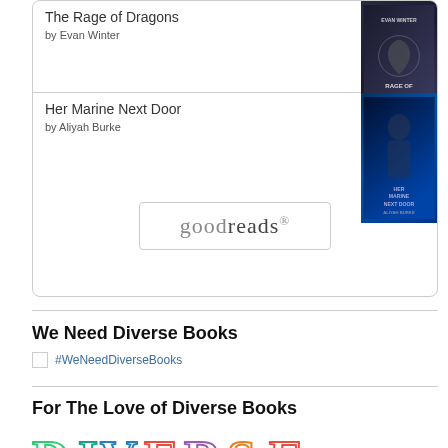[Figure (other): Goodreads widget box showing two book entries: 'The Rage of Dragons by Evan Winter' and 'Her Marine Next Door by Aliyah Burke', with a Goodreads logo button at the bottom]
The Rage of Dragons
by Evan Winter
Her Marine Next Door
by Aliyah Burke
We Need Diverse Books
#WeNeedDiverseBooks
For The Love of Diverse Books
[Figure (logo): Colorful outlined 'DIVERSE' text logo in multiple colors]